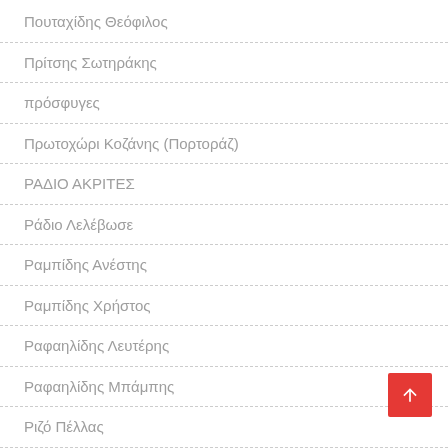Πουταχίδης Θεόφιλος
Πρίτσης Σωτηράκης
πρόσφυγες
Πρωτοχώρι Κοζάνης (Πορτοράζ)
ΡΑΔΙΟ ΑΚΡΙΤΕΣ
Ράδιο Λελέβωσε
Ραμπίδης Ανέστης
Ραμπίδης Χρήστος
Ραφαηλίδης Λευτέρης
Ραφαηλίδης Μπάμπης
Ριζό Πέλλας
Ροδοχώρι Ναούσης